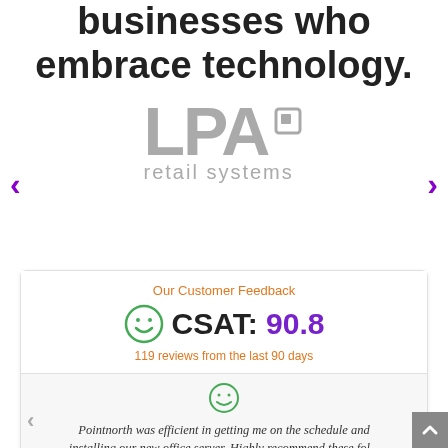businesses who embrace technology.
[Figure (logo): LPA retail systems logo in gray]
Our Customer Feedback
CSAT: 90.8
119 reviews from the last 90 days
Pointnorth was efficient in getting me on the schedule and installing our new office server. Highly recommend these fol...